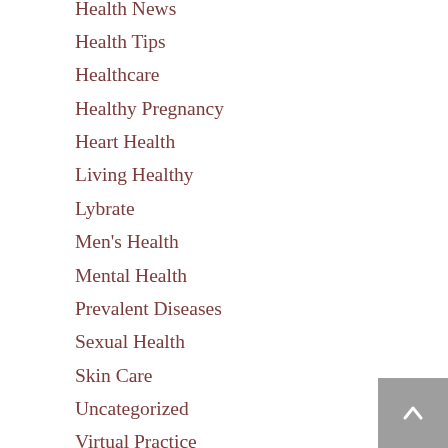Health News
Health Tips
Healthcare
Healthy Pregnancy
Heart Health
Living Healthy
Lybrate
Men's Health
Mental Health
Prevalent Diseases
Sexual Health
Skin Care
Uncategorized
Virtual Practice
Weight Gain
Weight Loss
Women's Health
SEARCH DOCTORS
Find Best Doctors